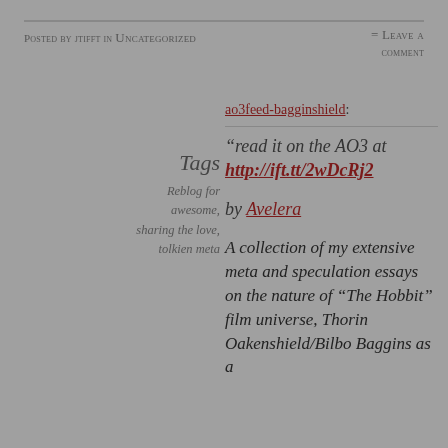Posted by jtifft in Uncategorized = Leave a comment
ao3feed-bagginshield:
Tags
Reblog for awesome, sharing the love, tolkien meta
“read it on the AO3 at http://ift.tt/2wDcRj2

by Avelera

A collection of my extensive meta and speculation essays on the nature of “The Hobbit” film universe, Thorin Oakenshield/Bilbo Baggins as a